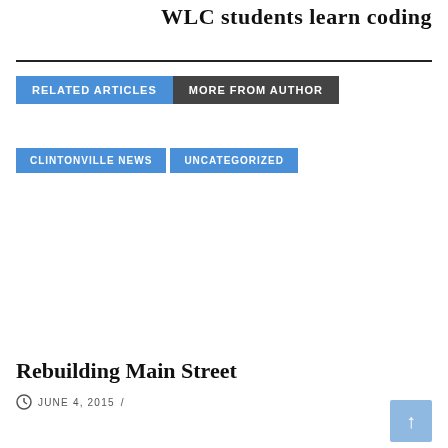WLC students learn coding
RELATED ARTICLES   MORE FROM AUTHOR
CLINTONVILLE NEWS
UNCATEGORIZED
Rebuilding Main Street
JUNE 4, 2015 /